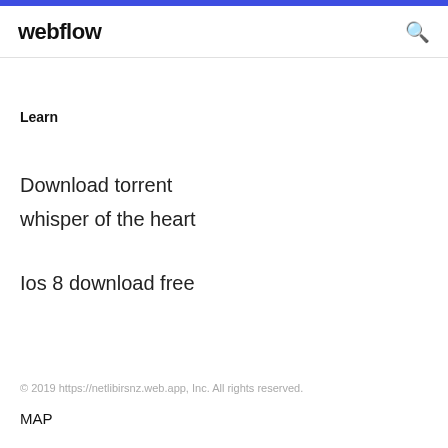webflow
Learn
Download torrent whisper of the heart
Ios 8 download free
© 2019 https://netlibirsnz.web.app, Inc. All rights reserved.
MAP